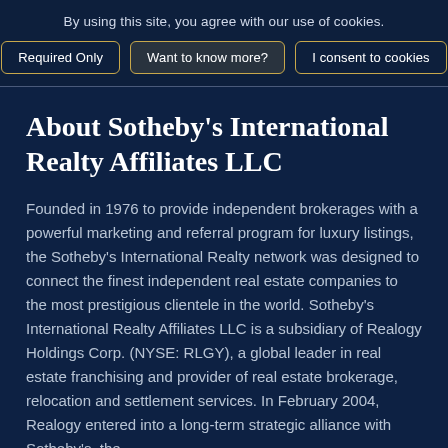By using this site, you agree with our use of cookies.
Required Only | Want to know more? | I consent to cookies
About Sotheby's International Realty Affiliates LLC
Founded in 1976 to provide independent brokerages with a powerful marketing and referral program for luxury listings, the Sotheby's International Realty network was designed to connect the finest independent real estate companies to the most prestigious clientele in the world. Sotheby's International Realty Affiliates LLC is a subsidiary of Realogy Holdings Corp. (NYSE: RLGY), a global leader in real estate franchising and provider of real estate brokerage, relocation and settlement services. In February 2004, Realogy entered into a long-term strategic alliance with Sotheby's, the